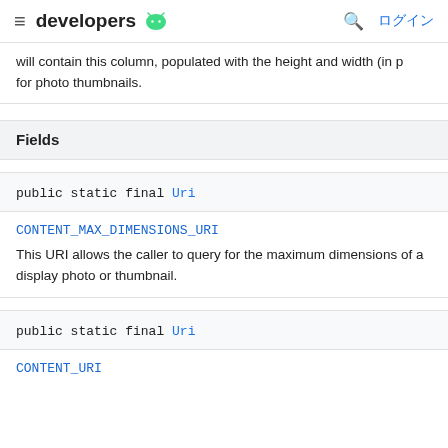≡ developers 🤖 🔍 ログイン
will contain this column, populated with the height and width (in p for photo thumbnails.
Fields
public static final Uri
CONTENT_MAX_DIMENSIONS_URI
This URI allows the caller to query for the maximum dimensions of a display photo or thumbnail.
public static final Uri
CONTENT_URI